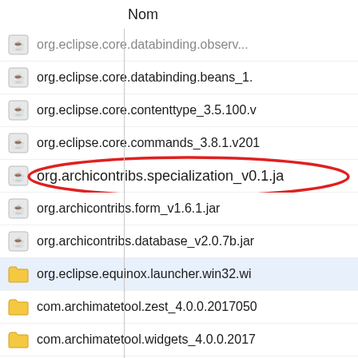Nom
[Figure (screenshot): Windows file explorer screenshot showing a list of Java JAR files and folders. Files include org.eclipse.core.databinding.observ..., org.eclipse.core.databinding.beans_1., org.eclipse.core.contenttype_3.5.100.v, org.eclipse.core.commands_3.8.1.v201, org.archicontribs.specialization_v0.1.ja (circled in red), org.archicontribs.form_v1.6.1.jar, org.archicontribs.database_v2.0.7b.jar, org.eclipse.equinox.launcher.win32.wi, com.archimatetool.zest_4.0.0.2017050, com.archimatetool.widgets_4.0.0.2017, com.archimatetool.templates_4.0.0.20, com.archimatetool.reports_4.0.0.2017]